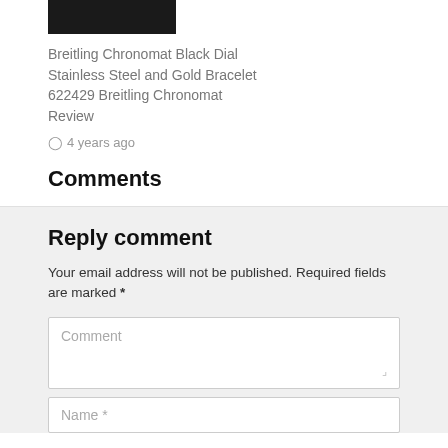[Figure (photo): Partial image of a person wearing a watch, dark background, cropped at top]
Breitling Chronomat Black Dial Stainless Steel and Gold Bracelet 622429 Breitling Chronomat Review
4 years ago
Comments
Reply comment
Your email address will not be published. Required fields are marked *
Comment
Name *